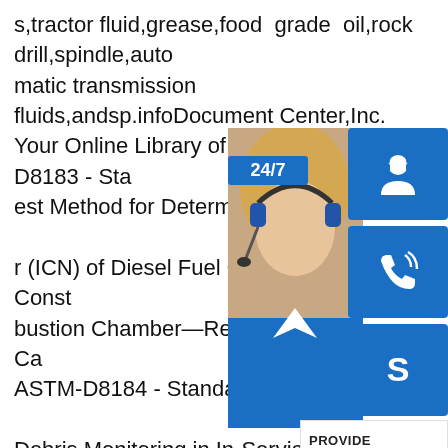s,tractor fluid,grease,food grade oil,rock drill,spindle,automatic transmission fluids,andsp.infoDocument Center,Inc. Your Online Library of US and ASTM-D8183 - Standard Test Method for Determination of Indicated Cetane Number (ICN) of Diesel Fuel Oils using a Constant Volume Combustion Chamber—Reference Fuels Calibration. ASTM-D8184 - Standard Test Method for Debris Monitoring in In-Service Fluids Using an Automatic Particle Quantifier Instrumentsp.infoReference Material e,Soffit,Fascia,Trim Coil ACM's Rainware ce PDFs.sp.infoMilitary Specifications - Fuels Chemical Base Liquid Propellant Fuels And Oxidizers (91) Fuel Oils (60) Hydraulic Lubricating Oils And Greases:Cutting (597) Fats Oils Miscellaneous Waxes (13) Paper And Paperboard (41) Rubber Fabricated Materials (1474) Plastics Fabricated Materials (602) Glass Fabricated Materials
[Figure (infographic): Customer support widget overlay showing a woman with headset, blue icon buttons for 24/7 support (headset icon), phone icon, Skype icon, a PROVIDE Empowering Customers panel, and an orange 'online live' button.]